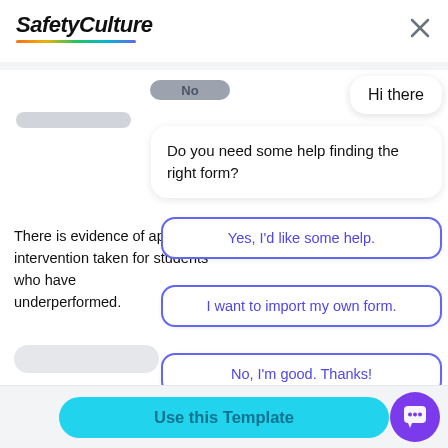[Figure (screenshot): SafetyCulture app header with logo and close button]
Hi there
Do you need some help finding the right form?
There is evidence of appr intervention taken for students who have underperformed.
Yes, I'd like some help.
I want to import my own form.
No, I'm good. Thanks!
Yes
No
Use this Template